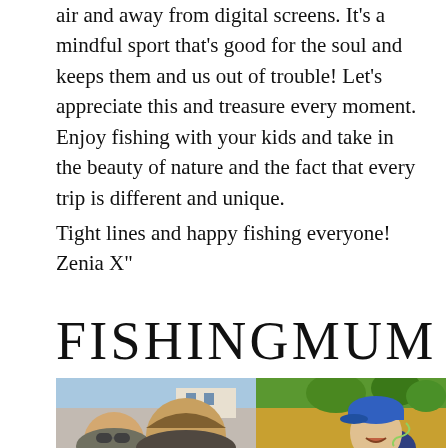air and away from digital screens. It's a mindful sport that's good for the soul and keeps them and us out of trouble! Let's appreciate this and treasure every moment. Enjoy fishing with your kids and take in the beauty of nature and the fact that every trip is different and unique.
Tight lines and happy fishing everyone!
Zenia X"
FISHINGMUM
[Figure (photo): Two photos side by side: left shows two children (a boy with sunglasses and a girl) close up smiling; right shows a boy in a blue cap laughing outdoors near water with green trees behind him.]